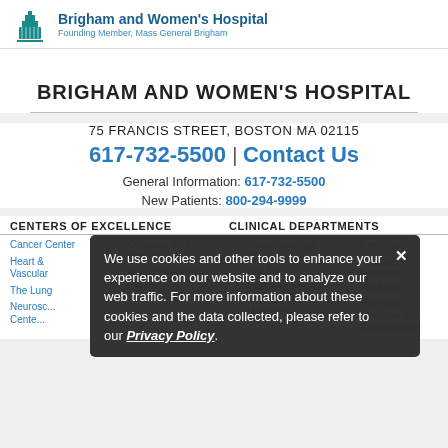Brigham and Women's Hospital — Founding Member, Mass General Brigham
BRIGHAM AND WOMEN'S HOSPITAL
75 FRANCIS STREET, BOSTON MA 02115
617-732-5500 | Contact Us
General Information: 617-732-5500
New Patients: 800-294-9999
CENTERS OF EXCELLENCE
CLINICAL DEPARTMENTS
Cancer Center
Heart & Vascular
The Lung
Neuroscience Center
Orthopaedic & Arthritis Center
Women's Health Center
Anesthesiology, Perioperative and Pain Center
Orthopaedics & Emergency Medicine
Pathology
Pediatric Newborn Medicine
Physical Medicine and Rehabilitation
We use cookies and other tools to enhance your experience on our website and to analyze our web traffic. For more information about these cookies and the data collected, please refer to our Privacy Policy.